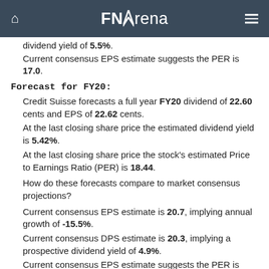FNArena
dividend yield of 5.5%.
Current consensus EPS estimate suggests the PER is 17.0.
Forecast for FY20:
Credit Suisse forecasts a full year FY20 dividend of 22.60 cents and EPS of 22.62 cents.
At the last closing share price the estimated dividend yield is 5.42%.
At the last closing share price the stock's estimated Price to Earnings Ratio (PER) is 18.44.
How do these forecasts compare to market consensus projections?
Current consensus EPS estimate is 20.7, implying annual growth of -15.5%.
Current consensus DPS estimate is 20.3, implying a prospective dividend yield of 4.9%.
Current consensus EPS estimate suggests the PER is 20.1.
Market Sentiment: -0.1
All consensus data are updated until yesterday. FNArena's consensus calculations require a minimum of three sources.